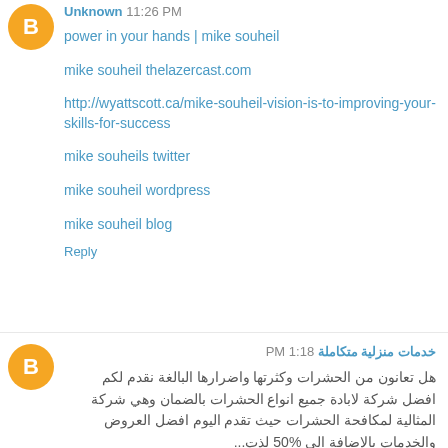Unknown 11:26 PM
power in your hands | mike souheil
mike souheil thelazercast.com
http://wyattscott.ca/mike-souheil-vision-is-to-improving-your-skills-for-success
mike souheils twitter
mike souheil wordpress
mike souheil blog
Reply
خدمات منزلية متكاملة 1:18 PM
هل تعانون من الحشرات وكثرتها واضرارها البالغة نقدم لكم افضل شركة لابادة جميع انواع الحشرات بالضمان وهي شركة المثالية لمكافحة الحشرات حيث تقدم اليوم افضل العروض والخدمات بالاضافة الى %50 لذت...